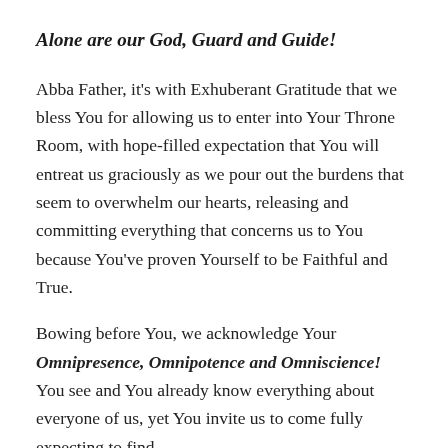Alone are our God, Guard and Guide!
Abba Father, it's with Exhuberant Gratitude that we bless You for allowing us to enter into Your Throne Room, with hope-filled expectation that You will entreat us graciously as we pour out the burdens that seem to overwhelm our hearts, releasing and committing everything that concerns us to You because You've proven Yourself to be Faithful and True.
Bowing before You, we acknowledge Your Omnipresence, Omnipotence and Omniscience! You see and You already know everything about everyone of us, yet You invite us to come fully expecting to find